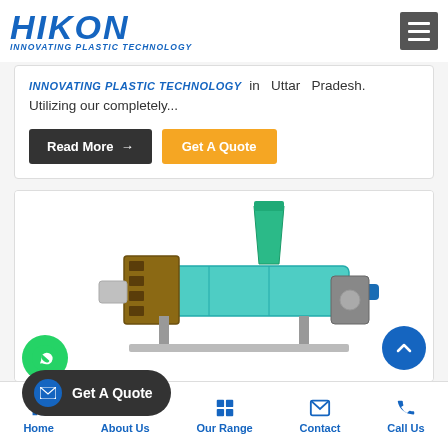HIKON - INNOVATING PLASTIC TECHNOLOGY
in Uttar Pradesh. Utilizing our completely...
Read More → | Get A Quote
[Figure (photo): Industrial plastic extrusion machine with green/teal body, hopper on top, blue shaft, and brown metal housing on a white background.]
Get A Quote
Home | About Us | Our Range | Contact | Call Us